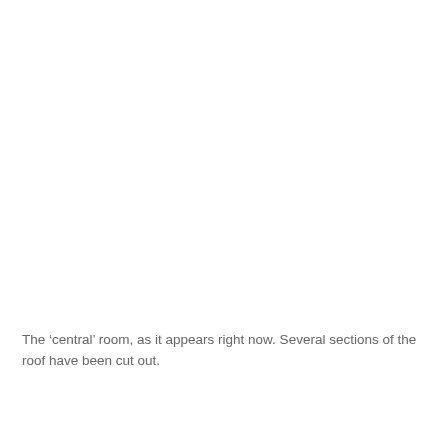[Figure (photo): Large white/blank area representing a photograph of a room interior that appears mostly white or washed out — the 'central' room with sections of the roof cut out.]
The ‘central’ room, as it appears right now. Several sections of the roof have been cut out.